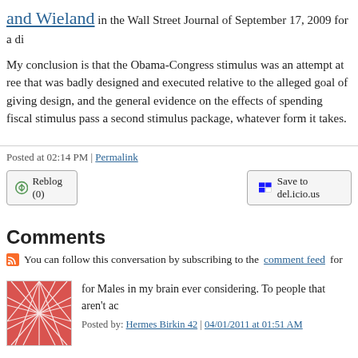and Wieland in the Wall Street Journal of September 17, 2009 for a di
My conclusion is that the Obama-Congress stimulus was an attempt at ree that was badly designed and executed relative to the alleged goal of giving design, and the general evidence on the effects of spending fiscal stimulus pass a second stimulus package, whatever form it takes.
Posted at 02:14 PM | Permalink
[Figure (screenshot): Reblog (0) button and Save to del.icio.us button]
Comments
You can follow this conversation by subscribing to the comment feed for
[Figure (photo): Avatar: red/pink abstract geometric pattern]
for Males in my brain ever considering. To people that aren't ac
Posted by: Hermes Birkin 42 | 04/01/2011 at 01:51 AM